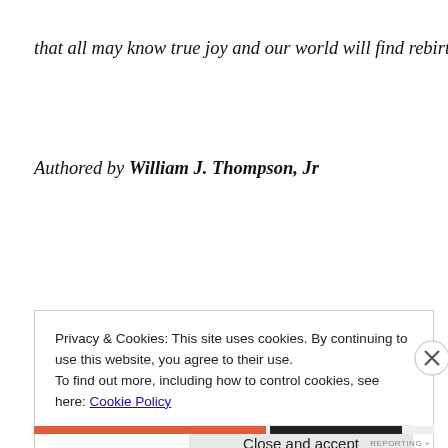that all may know true joy and our world will find rebirth.
Authored by William J. Thompson, Jr
Privacy & Cookies: This site uses cookies. By continuing to use this website, you agree to their use.
To find out more, including how to control cookies, see here: Cookie Policy